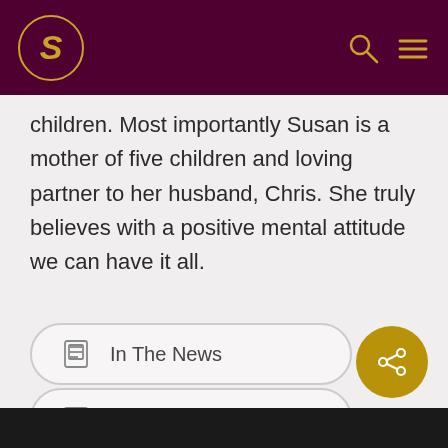S [logo] [search icon] [menu icon]
children. Most importantly Susan is a mother of five children and loving partner to her husband, Chris. She truly believes with a positive mental attitude we can have it all.
In The News
No Comments